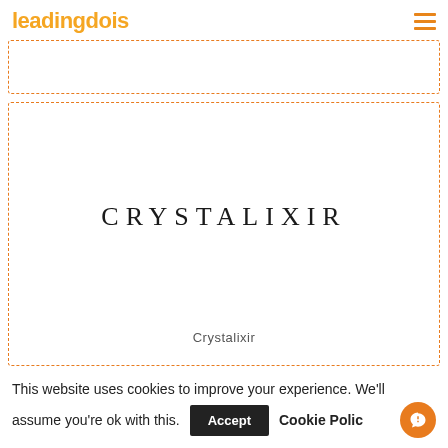leadingdois
[Figure (logo): Crystalixir logo — spaced uppercase serif text reading CRYSTALIXIR inside a dashed orange border card]
Crystalixir
This website uses cookies to improve your experience. We'll assume you're ok with this. Accept Cookie Policy